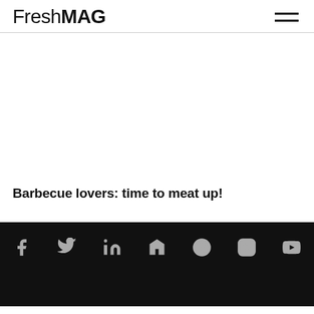FreshMAG
Barbecue lovers: time to meat up!
[Figure (other): Social media icons row: Facebook, Twitter, LinkedIn, Houzz, Pinterest, Instagram, YouTube on black background footer]